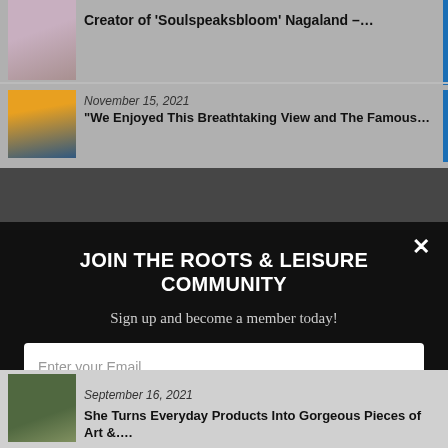[Figure (screenshot): Thumbnail image of a woman in pink top, partial view at top of page]
Creator of 'Soulspeaksbloom' Nagaland –…
[Figure (photo): Thumbnail image of a landscape with orange sky]
November 15, 2021
"We Enjoyed This Breathtaking View and The Famous…
[Figure (screenshot): Modal popup overlay: JOIN THE ROOTS & LEISURE COMMUNITY sign-up form]
JOIN THE ROOTS & LEISURE COMMUNITY
Sign up and become a member today!
Enter your Email
SIGN UP
POWERED BY SUMO
September 16, 2021
She Turns Everyday Products Into Gorgeous Pieces of Art &....